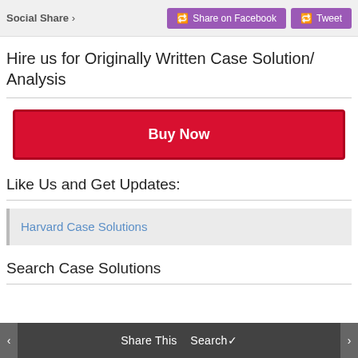Social Share ▶   Share on Facebook   Tweet
Hire us for Originally Written Case Solution/Analysis
Buy Now
Like Us and Get Updates:
Harvard Case Solutions
Search Case Solutions
Share This  Search